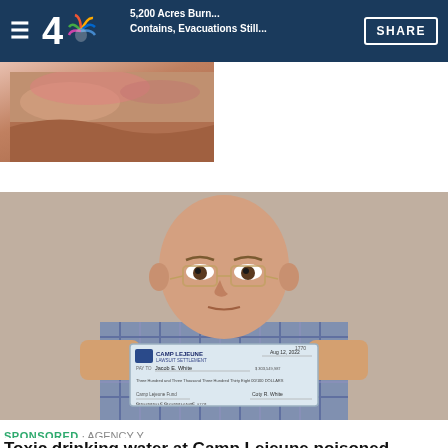4 NBC [logo] | 5,200 Acres Burning, Contains, Evacuations Still... | SHARE
[Figure (photo): Partial view of a photo showing red/pink blurred imagery, cropped at top of page]
[Figure (photo): An elderly bald man wearing glasses and a plaid shirt holds up a Camp Lejeune Lawsuit Settlement check made out to Jacob E. White, dated Aug 12 2022, signed by Coty R. White]
SPONSORED · AGENCY Y
Toxic drinking water at Camp Lejeune poisoned Marines for more than three decades